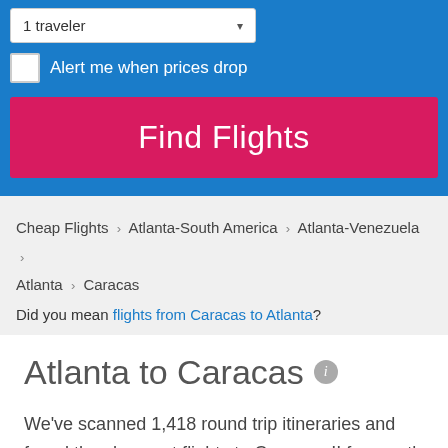1 traveler
Alert me when prices drop
Find Flights
Cheap Flights > Atlanta-South America > Atlanta-Venezuela > Atlanta > Caracas
Did you mean flights from Caracas to Atlanta?
Atlanta to Caracas
We've scanned 1,418 round trip itineraries and found the cheapest flights to Caracas. !! frequently offer the